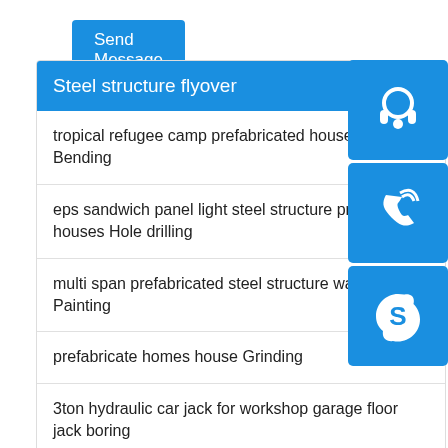[Figure (screenshot): Blue Send Message button]
Steel structure flyover
tropical refugee camp prefabricated house in ha... Bending
eps sandwich panel light steel structure prefab houses Hole drilling
multi span prefabricated steel structure warehou... Painting
prefabricate homes house Grinding
3ton hydraulic car jack for workshop garage floor jack boring
[Figure (screenshot): Three blue sidebar icons: headset/customer service, phone/call, Skype logo]